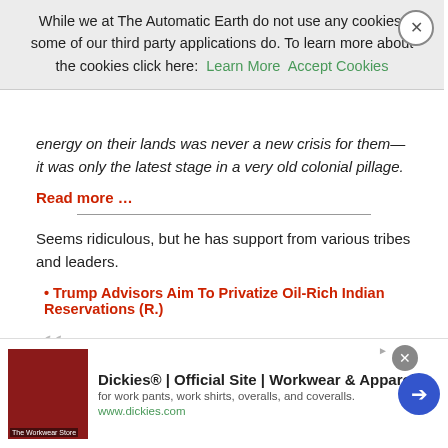Cookie banner: While we at The Automatic Earth do not use any cookies, some of our third party applications do. To learn more about the cookies click here: Learn More | Accept Cookies
energy on their lands was never a new crisis for them—it was only the latest stage in a very old colonial pillage.
Read more …
Seems ridiculous, but he has support from various tribes and leaders.
Trump Advisors Aim To Privatize Oil-Rich Indian Reservations (R.)
Native American reservations cover just 2% of the United States, but they may contain about a fifth of the nation's oil and gas, along with vast coal reserves. Now, a group of advisors to President-elect Donald Trump on Native American issues wants to free those
[Figure (other): Dickies advertisement banner: Dickies® | Official Site | Workwear & Apparel — for work pants, work shirts, overalls, and coveralls. www.dickies.com]